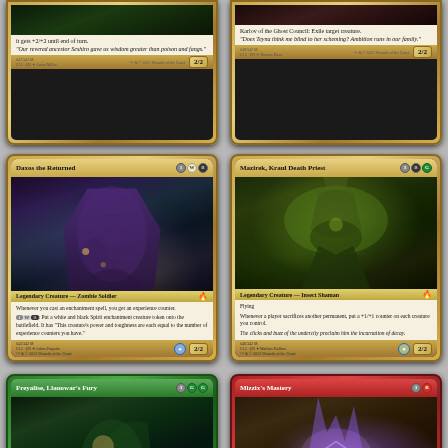[Figure (photo): Magic: The Gathering card - partial top, snake/creature card with +2/+2 effect and quote about ancestor Seshiro, power/toughness 2/2]
[Figure (photo): Magic: The Gathering card - partial top, Karlov of the Ghost Council: Exile target creature. Quote about Teyna and scheming. Power/toughness 2/2]
[Figure (photo): Magic: The Gathering card - Daxos the Returned, cost 1WB, Legendary Creature - Zombie Soldier, experience counter enchantment abilities, power/toughness 2/2]
[Figure (photo): Magic: The Gathering card - Mazirek, Kraul Death Priest, cost 3BG, Legendary Creature - Insect Shaman, Flying, sacrifice trigger puts +1/+1 counters, power/toughness 2/2]
[Figure (photo): Magic: The Gathering card - Freyalise, Llanowar's Fury, cost 3GG, green card, partial bottom shown]
[Figure (photo): Magic: The Gathering card - Mizzix's Mastery, cost 3R, red card, partial bottom shown]